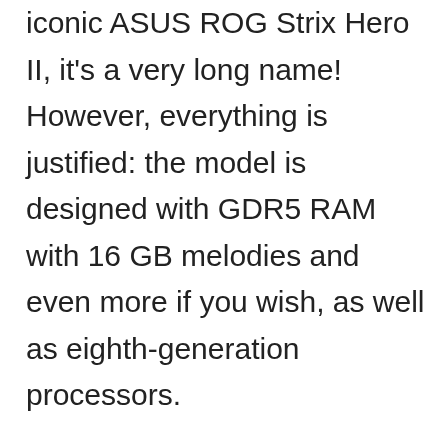iconic ASUS ROG Strix Hero II, it's a very long name! However, everything is justified: the model is designed with GDR5 RAM with 16 GB melodies and even more if you wish, as well as eighth-generation processors.

There is a reason why we have chosen an ASUS laptop for our favorite GTX 1060 laptop in general. This beast has all the areas covered! For example, it will not be limited to the miserable refresh rates of 60Hz on the screen. In fact, you can go up to 144Hz for softer games with a higher frame rate. You always need great audio quality to make the gaming experience totally immersive. The good thing is that this is the case with the ASUS model we tested. The speakers are above